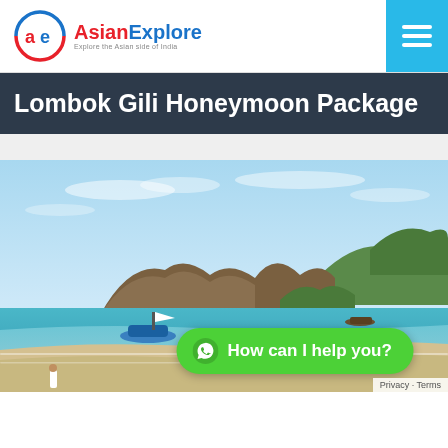AsianExplore — Explore the Asian side of India
Lombok Gili Honeymoon Package
[Figure (photo): Scenic beach view with turquoise water, sandy shore, moored boats, and hilly green landscape under a clear blue sky. People visible on the beach. 'How can I help you?' WhatsApp chat button overlaid at bottom.]
How can I help you?
Privacy · Terms